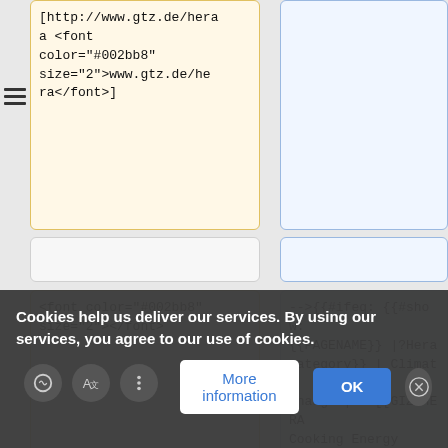a <font color="#002bb8" size="2">www.gtz.de/hera</font>]
<font color="#002bb8" size="2"></font>
-->{{#ifeq: {{#show: {{PAGENAME}} |?Hera category}} | Climate Change |'''[[GIZ HERA Cooking Energy Compendium#Climate Change Related Issues|Climate Change]]''' | [[GIZ HERA Cooking Energy Compendium#Climate Change Related Issues|Climate Change]]}} | )
Cookies help us deliver our services. By using our services, you agree to our use of cookies.